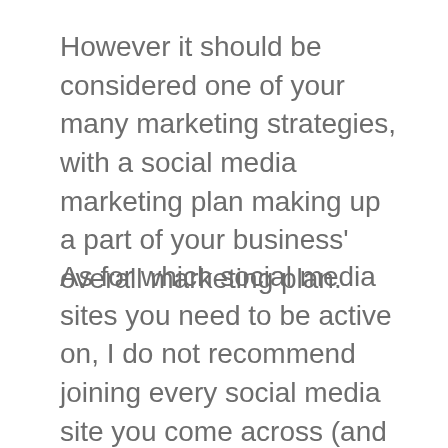However it should be considered one of your many marketing strategies, with a social media marketing plan making up a part of your business' overall marketing plan.
As for which social media sites you need to be active on, I do not recommend joining every social media site you come across (and trust me, there's literally 1000s of them!) Doing so means you'll be spreading yourself too thin and in all honesty, not all of them are going to